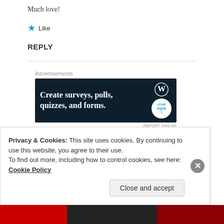Much love!
★ Like
REPLY
[Figure (screenshot): Advertisement banner: dark navy background with white bold text 'Create surveys, polls, quizzes, and forms.' with WordPress and Crowdsignal logos on the right side]
NOUR LEE
17 Apr 2019 at 9:54 pm
Privacy & Cookies: This site uses cookies. By continuing to use this website, you agree to their use.
To find out more, including how to control cookies, see here: Cookie Policy